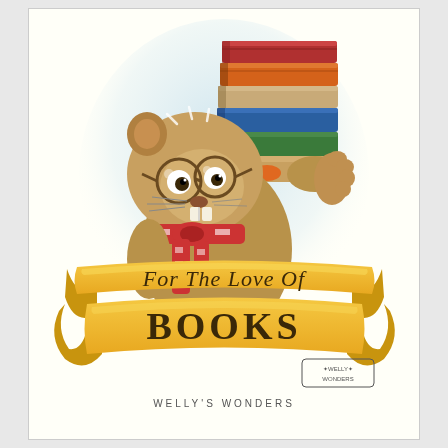[Figure (illustration): Cartoon illustration of a beaver or otter wearing round glasses and a red/white checkered scarf, holding a large stack of colorful books (red, orange, blue, green, tan). The animal has a surprised/excited expression. Below the animal is a golden banner ribbon reading 'For The Love Of BOOKS' in hand-lettered text. A small 'Welly Wonders' logo appears in the lower right corner. Background has a soft blue oval vignette.]
WELLY'S WONDERS